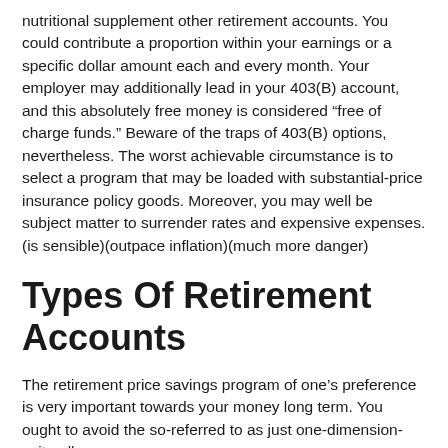nutritional supplement other retirement accounts. You could contribute a proportion within your earnings or a specific dollar amount each and every month. Your employer may additionally lead in your 403(B) account, and this absolutely free money is considered “free of charge funds.” Beware of the traps of 403(B) options, nevertheless. The worst achievable circumstance is to select a program that may be loaded with substantial-price insurance policy goods. Moreover, you may well be subject matter to surrender rates and expensive expenses.(is sensible)(outpace inflation)(much more danger)
Types Of Retirement Accounts
The retirement price savings program of one’s preference is very important towards your money long term. You ought to avoid the so-referred to as just one-dimension-suits-all